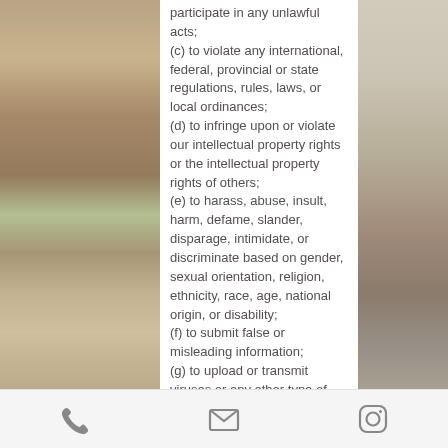participate in any unlawful acts; (c) to violate any international, federal, provincial or state regulations, rules, laws, or local ordinances; (d) to infringe upon or violate our intellectual property rights or the intellectual property rights of others; (e) to harass, abuse, insult, harm, defame, slander, disparage, intimidate, or discriminate based on gender, sexual orientation, religion, ethnicity, race, age, national origin, or disability; (f) to submit false or misleading information; (g) to upload or transmit viruses or any other type of malicious code that will or may be used in any way that will affect the functionality or operation of the Service or of any related website, other websites, or the Internet; (h) to collect or track the personal information of others; (i) to spam, phish, pharm, pretext, spider, crawl, or scrape;
[Figure (photo): Left side decorative image showing dried herbs/tea leaves and botanicals on a brown background]
[Figure (photo): Right side decorative image showing a wooden spoon with loose leaf tea and floral elements on a white background]
Phone icon | Email icon | Instagram icon